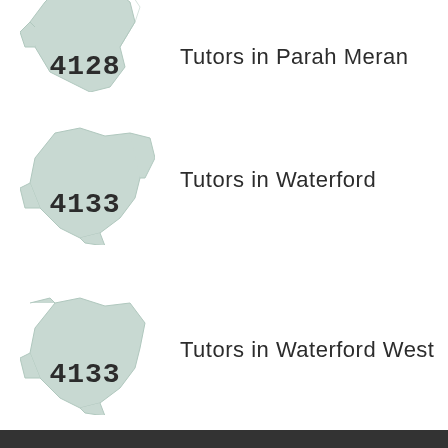[Figure (map): Map icon showing suburb shape with postcode 4128, partially cropped at top]
Tutors in Parah Meran
[Figure (map): Map icon showing suburb shape with postcode 4133 for Waterford]
Tutors in Waterford
[Figure (map): Map icon showing suburb shape with postcode 4133 for Waterford West]
Tutors in Waterford West